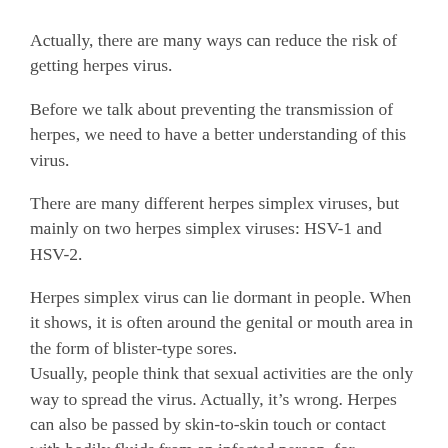Actually, there are many ways can reduce the risk of getting herpes virus.
Before we talk about preventing the transmission of herpes, we need to have a better understanding of this virus.
There are many different herpes simplex viruses, but mainly on two herpes simplex viruses: HSV-1 and HSV-2.
Herpes simplex virus can lie dormant in people. When it shows, it is often around the genital or mouth area in the form of blister-type sores.
Usually, people think that sexual activities are the only way to spread the virus. Actually, it’s wrong. Herpes can also be passed by skin-to-skin touch or contact with bodily fluids from an infected person, for example, blood and saliva.
Therefore, the best way to avoid herpes and other sexually transmitted diseases is to avoid any oral or genital contact with others.